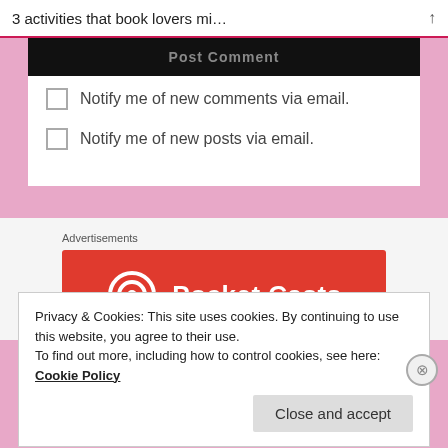3 activities that book lovers mi…
[Figure (screenshot): Post Comment button (dark background, partially visible)]
Notify me of new comments via email.
Notify me of new posts via email.
Advertisements
[Figure (logo): Pocket Casts advertisement banner with logo and brand name on red background]
Privacy & Cookies: This site uses cookies. By continuing to use this website, you agree to their use.
To find out more, including how to control cookies, see here:
Cookie Policy
Close and accept